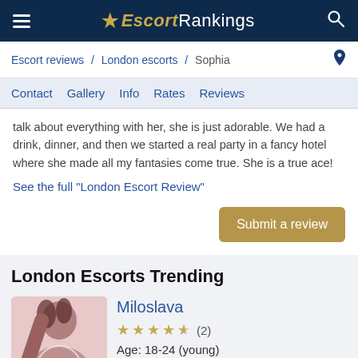Escort Rankings
Escort reviews / London escorts / Sophia
Contact   Gallery   Info   Rates   Reviews
talk about everything with her, she is just adorable. We had a drink, dinner, and then we started a real party in a fancy hotel where she made all my fantasies come true. She is a true ace!
See the full "London Escort Review"
Submit a review
London Escorts Trending
Miloslava
★★★★½ (2)
Age: 18-24 (young)